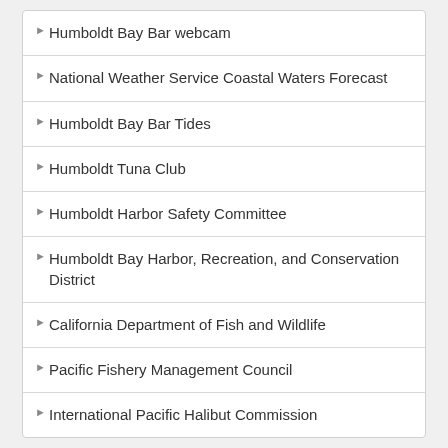Humboldt Bay Bar webcam
National Weather Service Coastal Waters Forecast
Humboldt Bay Bar Tides
Humboldt Tuna Club
Humboldt Harbor Safety Committee
Humboldt Bay Harbor, Recreation, and Conservation District
California Department of Fish and Wildlife
Pacific Fishery Management Council
International Pacific Halibut Commission